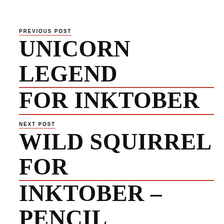PREVIOUS POST
UNICORN LEGEND FOR INKTOBER
NEXT POST
WILD SQUIRREL FOR INKTOBER – PENCIL TO PAINT TUTORIAL